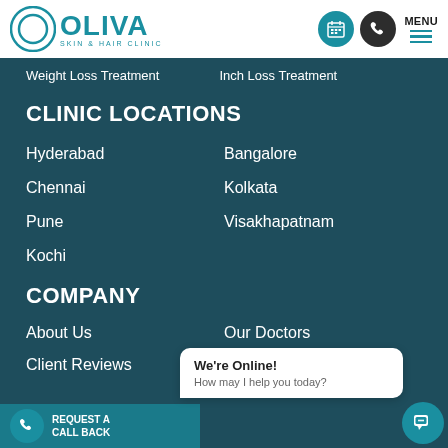[Figure (logo): Oliva Skin & Hair Clinic logo with teal circle and text]
Weight Loss Treatment
Inch Loss Treatment
CLINIC LOCATIONS
Hyderabad
Bangalore
Chennai
Kolkata
Pune
Visakhapatnam
Kochi
COMPANY
About Us
Our Doctors
Client Reviews
We're Online! How may I help you today?
REQUEST A CALL BACK